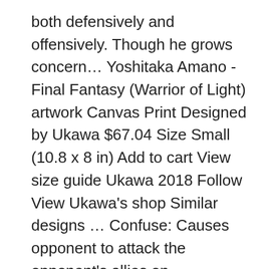both defensively and offensively. Though he grows concern… Yoshitaka Amano - Final Fantasy (Warrior of Light) artwork Canvas Print Designed by Ukawa $67.04 Size Small (10.8 x 8 in) Add to cart View size guide Ukawa 2018 Follow View Ukawa's shop Similar designs … Confuse: Causes opponent to attack the opponent's allies on themselves. The Warrior rarely shows any emotion other than his stoic face. Final Fantasy is a fantasy role-playing video game developed and published by Square in 1987. Tracks slightly and has a high reach into the air. Full-Life: Brings allies back from death with full health. According to Dissidia's character files, his origins and name are